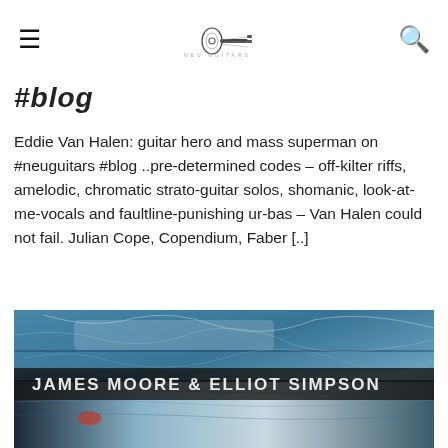≡  [guitar logo]  🔍
#blog
Eddie Van Halen: guitar hero and mass superman on #neuguitars #blog ..pre-determined codes – off-kilter riffs, amelodic, chromatic strato-guitar solos, shomanic, look-at-me-vocals and faultline-punishing ur-bas – Van Halen could not fail. Julian Cope, Copendium, Faber [..]
[Figure (photo): Album cover artwork showing blue and grey textured abstract painting with the text 'JAMES MOORE & ELLIOT SIMPSON' overlaid on a dark banner in the lower portion of the image.]